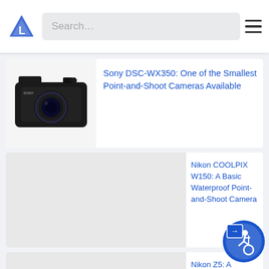Search…
[Figure (screenshot): Product listing card: Sony DSC-WX350 camera image on left with blue link title text on right]
Sony DSC-WX350: One of the Smallest Point-and-Shoot Cameras Available
[Figure (screenshot): Product listing card: Nikon COOLPIX W150 - gray placeholder image on left, blue link text on right]
Nikon COOLPIX W150: A Basic Waterproof Point-and-Shoot Camera
[Figure (screenshot): Product listing card: Nikon Z5 - gray placeholder image on left, blue link text on right]
Nikon Z5: A Powerful Entry-Level Mirrorless